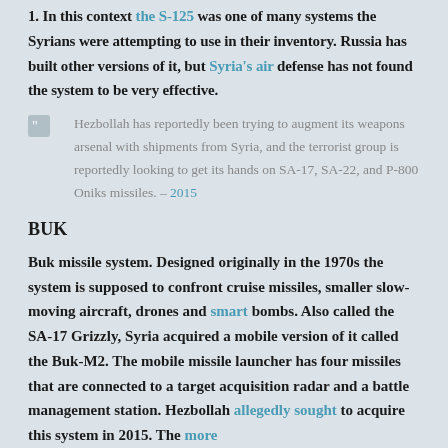1. In this context the S-125 was one of many systems the Syrians were attempting to use in their inventory. Russia has built other versions of it, but Syria's air defense has not found the system to be very effective.
Hezbollah has reportedly been trying to augment its weapons arsenal with shipments from Syria, and the terrorist group is reportedly looking to get its hands on SA-17, SA-22, and P-800 Oniks missiles. – 2015
BUK
Buk missile system. Designed originally in the 1970s the system is supposed to confront cruise missiles, smaller slow-moving aircraft, drones and smart bombs. Also called the SA-17 Grizzly, Syria acquired a mobile version of it called the Buk-M2. The mobile missile launcher has four missiles that are connected to a target acquisition radar and a battle management station. Hezbollah allegedly sought to acquire this system in 2015. The more